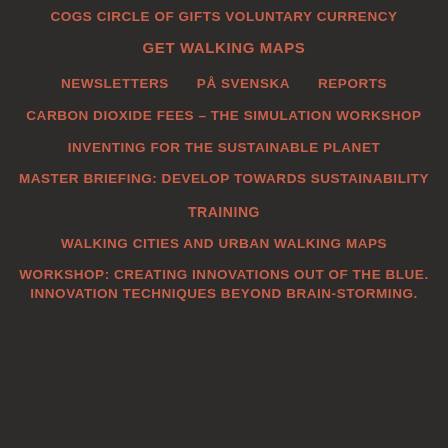COGS CIRCLE OF GIFTS VOLUNTARY CURRENCY
GET WALKING MAPS
NEWSLETTERS    PÅ SVENSKA    REPORTS
CARBON DIOXIDE FEES – THE SIMULATION WORKSHOP
INVENTING FOR THE SUSTAINABLE PLANET
MASTER BRIEFING: DEVELOP TOWARDS SUSTAINABILITY
TRAINING
WALKING CITIES AND URBAN WALKING MAPS
WORKSHOP: CREATING INNOVATIONS OUT OF THE BLUE. INNOVATION TECHNIQUES BEYOND BRAIN-STORMING.